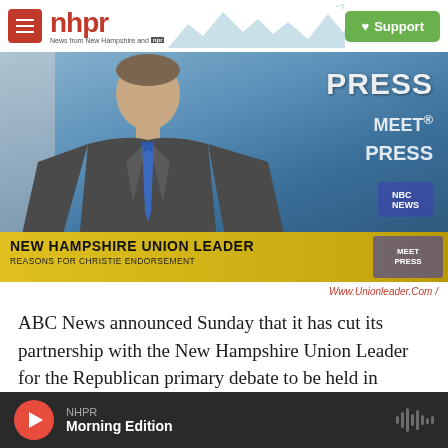nhpr — News from New Hampshire and NPR | Support
[Figure (photo): Screenshot of a man in a suit with blue tie appearing on Meet the Press; chyron reads 'NEW HAMPSHIRE UNION LEADER — REASONS FOR CHRISTIE ENDORSEMENT']
Www.Unionleader.Com /
ABC News announced Sunday that it has cut its partnership with the New Hampshire Union Leader for the Republican primary debate to be held in
NHPR — Morning Edition